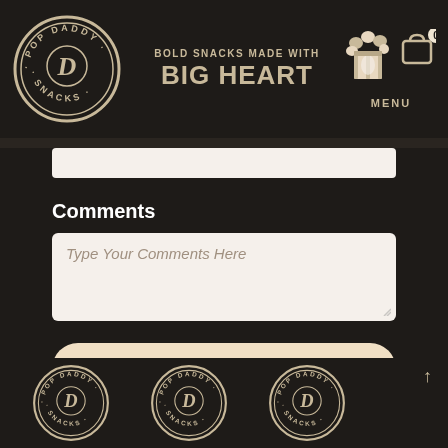[Figure (logo): Pop Daddy Snacks circular logo in dark color with cream/beige text]
BOLD SNACKS MADE WITH BIG HEART
[Figure (illustration): Popcorn bucket icon]
[Figure (illustration): Shopping bag cart icon with 0 badge]
MENU
Comments
Type Your Comments Here
Send Message
[Figure (logo): Pop Daddy Snacks circular logo - footer left]
[Figure (logo): Pop Daddy Snacks circular logo - footer center]
[Figure (logo): Pop Daddy Snacks circular logo - footer right (partially visible)]